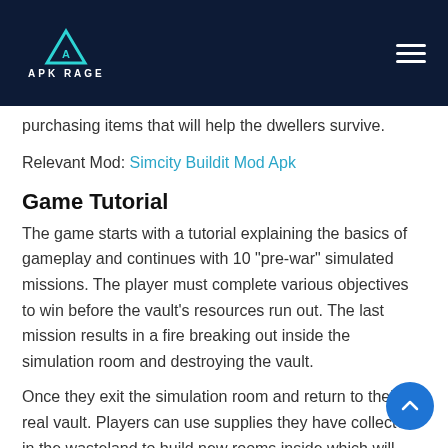APK RAGE
purchasing items that will help the dwellers survive.
Relevant Mod: Simcity Buildit Mod Apk
Game Tutorial
The game starts with a tutorial explaining the basics of gameplay and continues with 10 "pre-war" simulated missions. The player must complete various objectives to win before the vault's resources run out. The last mission results in a fire breaking out inside the simulation room and destroying the vault.
Once they exit the simulation room and return to their real vault. Players can use supplies they have collected in the wasteland to build new rooms inside which will help them survive. They may also send dwellers out into the wasteland to